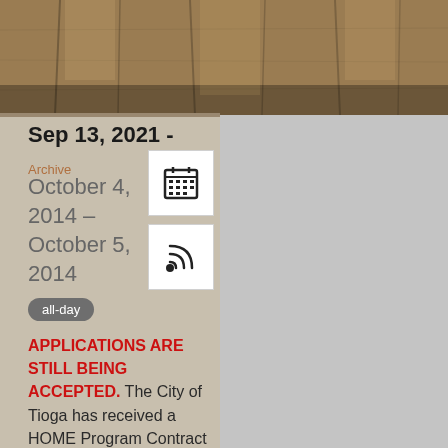[Figure (photo): Wood plank texture banner image across the top of the page]
Sep 13, 2021 -
October 4, 2014 – October 5, 2014
all-day
APPLICATIONS ARE STILL BEING ACCEPTED. The City of Tioga has received a HOME Program Contract #RSP 2020-0017 from the TDHCA. The RSP includes contracts for Housing